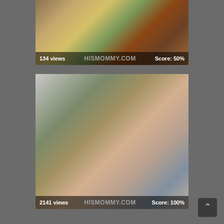[Figure (screenshot): Video thumbnail showing two people lying down, with yellow and green clothing visible, on a patterned purple bedspread. Overlay bar shows: 134 views | HISMOMMY.COM | Score: 50%]
[Figure (screenshot): Video thumbnail showing a blonde woman in a grey patterned top looking sideways, near a brick wall background, with a person in camo shorts visible on left. Overlay bar shows: 2141 views | HISMOMMY.COM | Score: 100%]